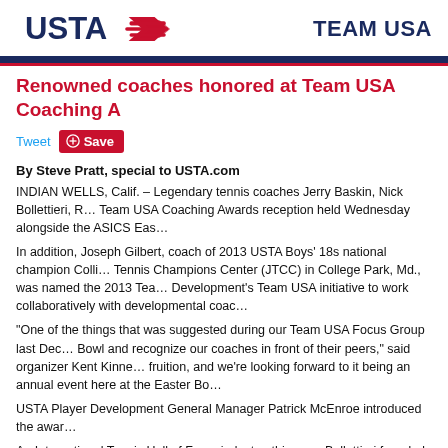USTA TEAM USA
Renowned coaches honored at Team USA Coaching A
Tweet  Save
By Steve Pratt, special to USTA.com
INDIAN WELLS, Calif. – Legendary tennis coaches Jerry Baskin, Nick Bollettieri, R… Team USA Coaching Awards reception held Wednesday alongside the ASICS Eas…
In addition, Joseph Gilbert, coach of 2013 USTA Boys' 18s national champion Colli… Tennis Champions Center (JTCC) in College Park, Md., was named the 2013 Tea… Development's Team USA initiative to work collaboratively with developmental coac…
“One of the things that was suggested during our Team USA Focus Group last Dec… Bowl and recognize our coaches in front of their peers,” said organizer Kent Kinne… fruition, and we’re looking forward to it being an annual event here at the Easter Bo…
USTA Player Development General Manager Patrick McEnroe introduced the awar…
An International Tennis Hall of Fame inductee this year, Bollettieri founded the Nic… world No. 1s, including Andre Agassi, Serena and Venus Williams, Boris Becker, M… academy at the 400-acre IMG Academy in Bradenton, Fla.
“I’m humbled when people say, ‘Nick is the best coach in the world,’ but I don’t thi…